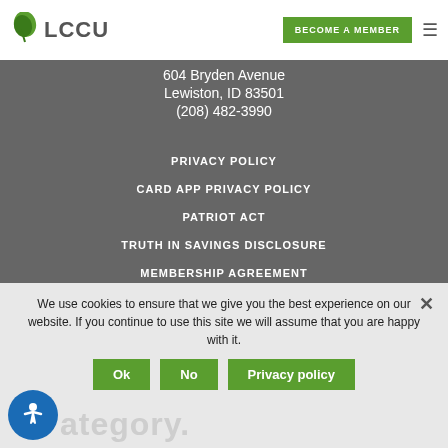[Figure (logo): LCCU logo with green leaf icon and grey LCCU text]
BECOME A MEMBER
BRYDEN MAIN BRANCH
604 Bryden Avenue
Lewiston, ID 83501
(208) 482-3990
PRIVACY POLICY
CARD APP PRIVACY POLICY
PATRIOT ACT
TRUTH IN SAVINGS DISCLOSURE
MEMBERSHIP AGREEMENT
We use cookies to ensure that we give you the best experience on our website. If you continue to use this site we will assume that you are happy with it.
Ok
No
Privacy policy